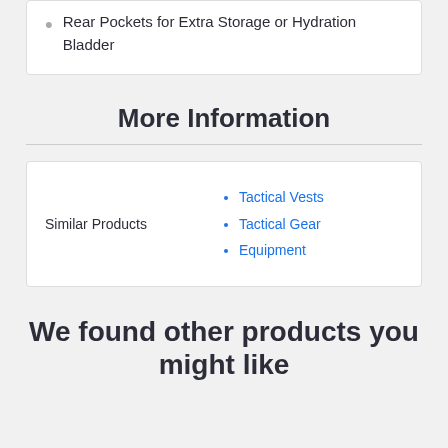Rear Pockets for Extra Storage or Hydration Bladder
More Information
| Similar Products | Links |
| --- | --- |
| Similar Products | Tactical Vests
Tactical Gear
Equipment |
We found other products you might like